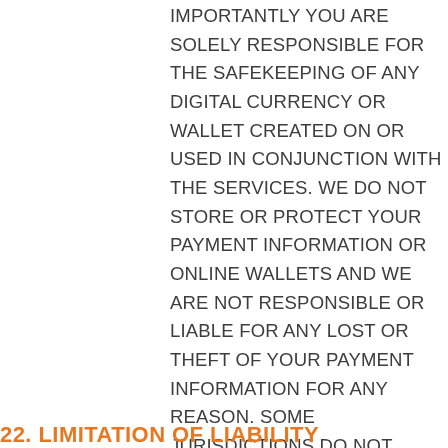IMPORTANTLY YOU ARE SOLELY RESPONSIBLE FOR THE SAFEKEEPING OF ANY DIGITAL CURRENCY OR WALLET CREATED ON OR USED IN CONJUNCTION WITH THE SERVICES. WE DO NOT STORE OR PROTECT YOUR PAYMENT INFORMATION OR ONLINE WALLETS AND WE ARE NOT RESPONSIBLE OR LIABLE FOR ANY LOST OR THEFT OF YOUR PAYMENT INFORMATION FOR ANY REASON. SOME JURISDICTIONS DO NOT ALLOW THE EXCLUSION OF CERTAIN WARRANTIES, SO SOME OF THE ABOVE EXCLUSIONS MAY NOT APPLY TO YOU.
22. LIMITATION OF LIABILITY